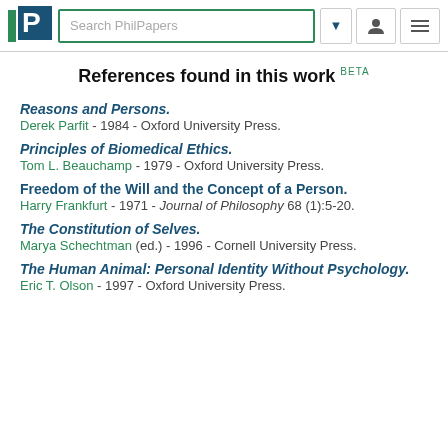Search PhilPapers
References found in this work BETA
Reasons and Persons. Derek Parfit - 1984 - Oxford University Press.
Principles of Biomedical Ethics. Tom L. Beauchamp - 1979 - Oxford University Press.
Freedom of the Will and the Concept of a Person. Harry Frankfurt - 1971 - Journal of Philosophy 68 (1):5-20.
The Constitution of Selves. Marya Schechtman (ed.) - 1996 - Cornell University Press.
The Human Animal: Personal Identity Without Psychology. Eric T. Olson - 1997 - Oxford University Press.